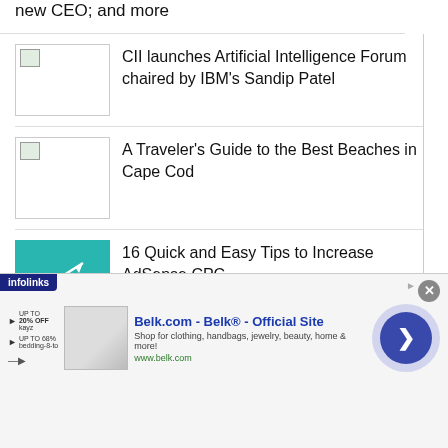new CEO; and more
CII launches Artificial Intelligence Forum chaired by IBM's Sandip Patel
A Traveler's Guide to the Best Beaches in Cape Cod
16 Quick and Easy Tips to Increase AdSense CPC
Detailed: Here's How Iran Spies on Dissidents with the Help of Hackers
[Figure (screenshot): Advertisement banner: Belk.com - Belk® - Official Site with infolinks branding and navigation arrow]